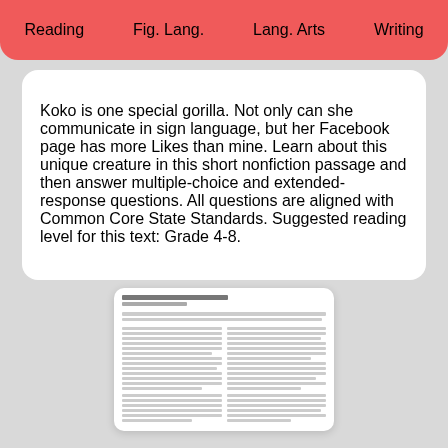Reading   Fig. Lang.   Lang. Arts   Writing
Koko is one special gorilla. Not only can she communicate in sign language, but her Facebook page has more Likes than mine. Learn about this unique creature in this short nonfiction passage and then answer multiple-choice and extended-response questions. All questions are aligned with Common Core State Standards. Suggested reading level for this text: Grade 4-8.
[Figure (other): A small thumbnail preview of a printed document/worksheet page with two columns of small text, a title at top, and dense paragraph lines.]